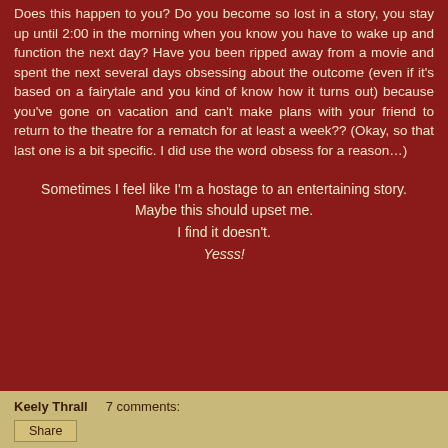Does this happen to you? Do you become so lost in a story, you stay up until 2:00 in the morning when you know you have to wake up and function the next day? Have you been ripped away from a movie and spent the next several days obsessing about the outcome (even if it's based on a fairytale and you kind of know how it turns out) because you've gone on vacation and can't make plans with your friend to return to the theatre for a rematch for at least a week?? (Okay, so that last one is a bit specific. I did use the word obsess for a reason…)
Sometimes I feel like I'm a hostage to an entertaining story.
Maybe this should upset me.
I find it doesn't.
Yesss!
Keely Thrall    7 comments:
Share